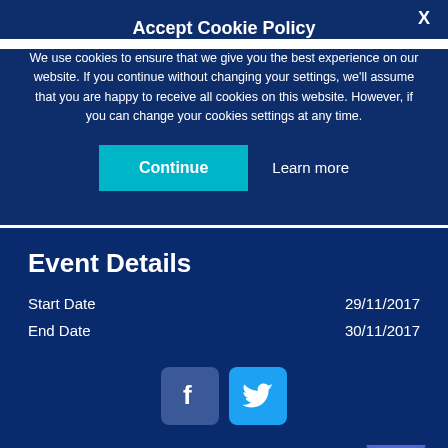Accept Cookie Policy
We use cookies to ensure that we give you the best experience on our website. If you continue without changing your settings, we'll assume that you are happy to receive all cookies on this website. However, if you can change your cookies settings at any time.
Continue | Learn more
Event Details
Start Date   29/11/2017
End Date   30/11/2017
[Figure (other): Social media icons: Facebook and Twitter buttons]
[Figure (other): Mail/newsletter widget icon in bottom right corner]